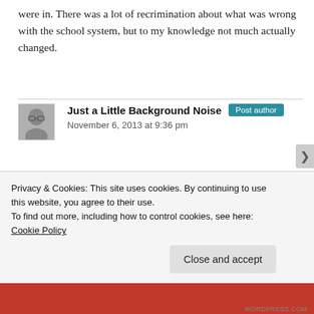were in. There was a lot of recrimination about what was wrong with the school system, but to my knowledge not much actually changed.
[Figure (photo): Avatar photo of a bald man with glasses]
Just a Little Background Noise  Post author
November 6, 2013 at 9:36 pm
There was a sense of dissonance regarding this issue in the school I worked in. One the one hand, as long as results were maintained, there was entirely about addressing a steep fall
Privacy & Cookies: This site uses cookies. By continuing to use this website, you agree to their use.
To find out more, including how to control cookies, see here: Cookie Policy
Close and accept